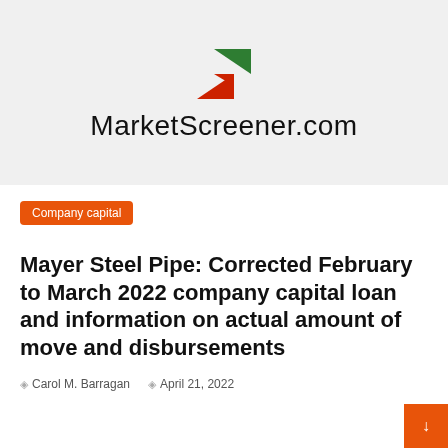[Figure (logo): MarketScreener.com logo with green and red arrow/chevron icon above the text 'MarketScreener.com']
Company capital
Mayer Steel Pipe: Corrected February to March 2022 company capital loan and information on actual amount of move and disbursements
Carol M. Barragan   April 21, 2022